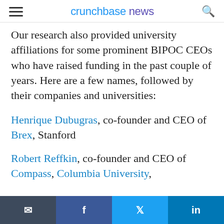crunchbase news
Our research also provided university affiliations for some prominent BIPOC CEOs who have raised funding in the past couple of years. Here are a few names, followed by their companies and universities:
Henrique Dubugras, co-founder and CEO of Brex, Stanford
Robert Reffkin, co-founder and CEO of Compass, Columbia University,
email | facebook | twitter | linkedin